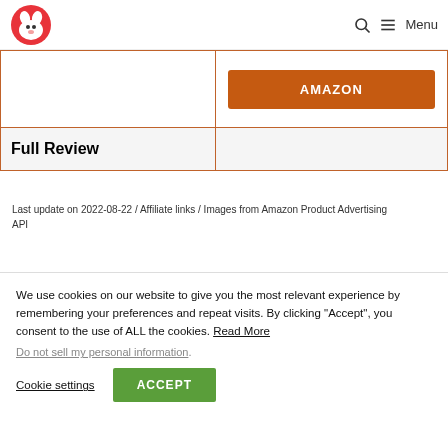Logo | Search | Menu
|  | AMAZON |
| Full Review |  |
Last update on 2022-08-22 / Affiliate links / Images from Amazon Product Advertising API
We use cookies on our website to give you the most relevant experience by remembering your preferences and repeat visits. By clicking “Accept”, you consent to the use of ALL the cookies. Read More
Do not sell my personal information.
Cookie settings   ACCEPT